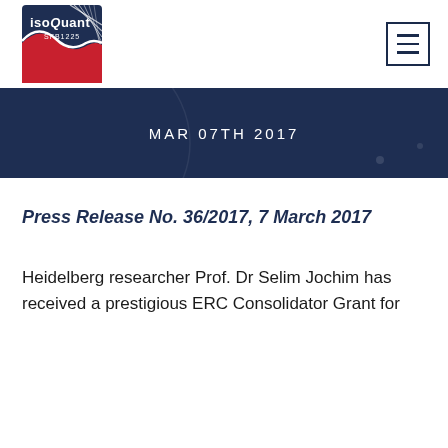[Figure (logo): IsoQuant SFB1225 logo — dark blue background with red and white wave/curve motif, text 'isoQuant SFB1225']
MAR 07TH 2017
Press Release No. 36/2017, 7 March 2017
Heidelberg researcher Prof. Dr Selim Jochim has received a prestigious ERC Consolidator Grant for